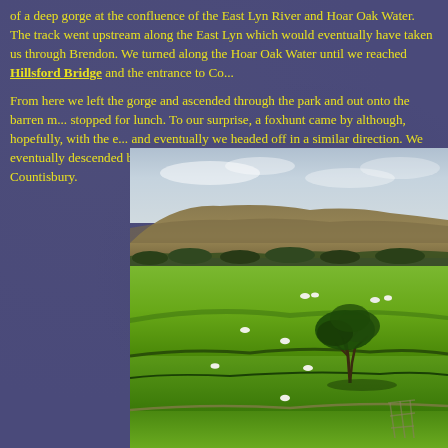of a deep gorge at the confluence of the East Lyn River and Hoar Oak Water. The track went upstream along the East Lyn which would eventually have taken us through Brendon. We turned along the Hoar Oak Water until we reached Hillsford Bridge and the entrance to Co...
From here we left the gorge and ascended through the park and out onto the barren m... stopped for lunch. To our surprise, a foxhunt came by although, hopefully, with the e... and eventually we headed off in a similar direction. We eventually descended back in... we stopped for tea, before returning to Countisbury.
[Figure (photo): Landscape photograph of rolling green fields with sheep grazing, a lone tree in the middle distance, hedgerows, and a moorland hill in the background under a cloudy sky.]